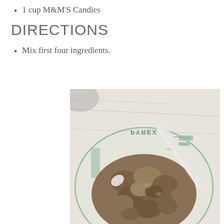1 cup M&M'S Candies
DIRECTIONS
Mix first four ingredients.
[Figure (photo): Top-down view of a Pyrex glass measuring bowl containing mixed cookie dough being stirred with a white spatula, placed on a light marble/white surface.]